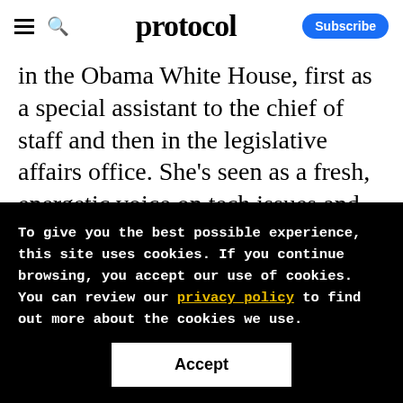protocol  Subscribe
in the Obama White House, first as a special assistant to the chief of staff and then in the legislative affairs office. She's seen as a fresh, energetic voice on tech issues and will likely know many of the Democrats flooding into the White House.
To give you the best possible experience, this site uses cookies. If you continue browsing, you accept our use of cookies. You can review our privacy policy to find out more about the cookies we use.
Accept